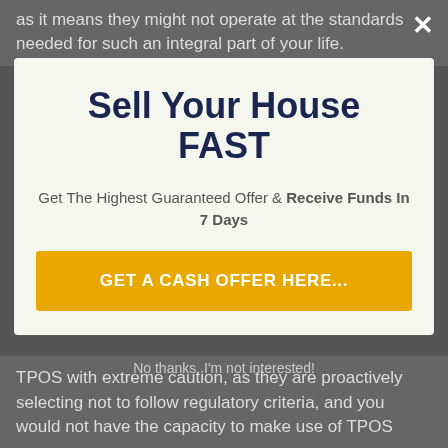as it means they might not operate at the standards needed for such an integral part of your life.
Sell Your House FAST
Get The Highest Guaranteed Offer & Receive Funds In 7 Days
GET A CASH OFFER HERE...
No thanks, I'm not interested!
TPOS with extreme caution, as they are proactively selecting not to follow regulatory criteria, and you would not have the capacity to make use of TPOS